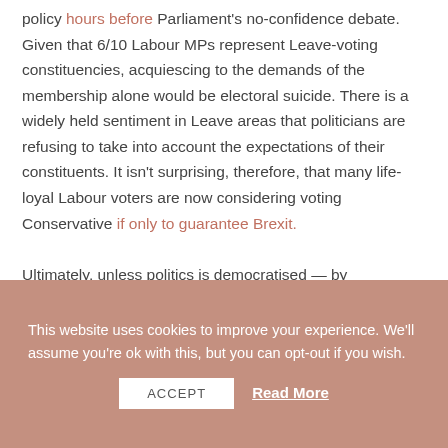policy hours before Parliament's no-confidence debate. Given that 6/10 Labour MPs represent Leave-voting constituencies, acquiescing to the demands of the membership alone would be electoral suicide. There is a widely held sentiment in Leave areas that politicians are refusing to take into account the expectations of their constituents. It isn't surprising, therefore, that many life-loyal Labour voters are now considering voting Conservative if only to guarantee Brexit.

Ultimately, unless politics is democratised — by introducing higher pay, stricter representative requirements and an emphasis on suitability rather than educational and occupational background — the Brexit
This website uses cookies to improve your experience. We'll assume you're ok with this, but you can opt-out if you wish.
ACCEPT
Read More